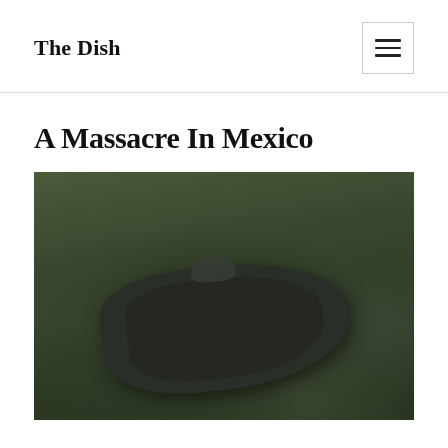The Dish
A Massacre In Mexico
[Figure (photo): Photograph of dark clothing or fabric lying on grass/ground, viewed from above, in muted green and dark tones suggesting an outdoor crime scene.]